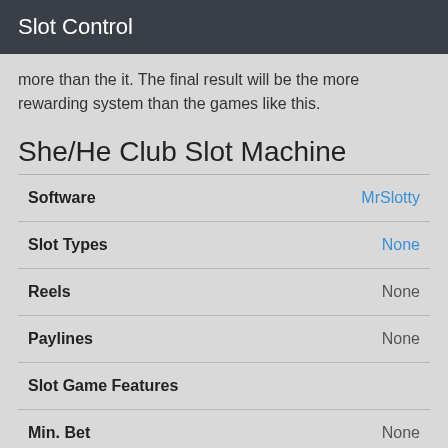Slot Control
more than the it. The final result will be the more rewarding system than the games like this.
She/He Club Slot Machine
|  |  |
| --- | --- |
| Software | MrSlotty |
| Slot Types | None |
| Reels | None |
| Paylines | None |
| Slot Game Features |  |
| Min. Bet | None |